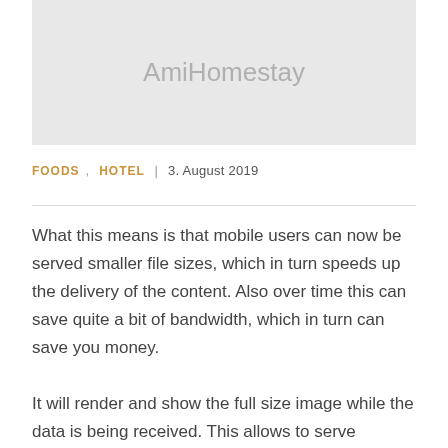[Figure (other): Gray placeholder image with 'AmiHomestay' watermark text]
FOODS,  HOTEL  |  3. August 2019
What this means is that mobile users can now be served smaller file sizes, which in turn speeds up the delivery of the content. Also over time this can save quite a bit of bandwidth, which in turn can save you money.
It will render and show the full size image while the data is being received. This allows to serve different scaled